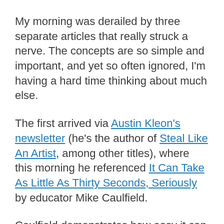My morning was derailed by three separate articles that really struck a nerve. The concepts are so simple and important, and yet so often ignored, I'm having a hard time thinking about much else.
The first arrived via Austin Kleon's newsletter (he's the author of Steal Like An Artist, among other titles), where this morning he referenced It Can Take As Little As Thirty Seconds, Seriously by educator Mike Caulfield.
Caulfield demonstrates how easy it can be to fact check something you're considering sharing. Literally. There's a 36 second (silent) video showing the steps he takes using an